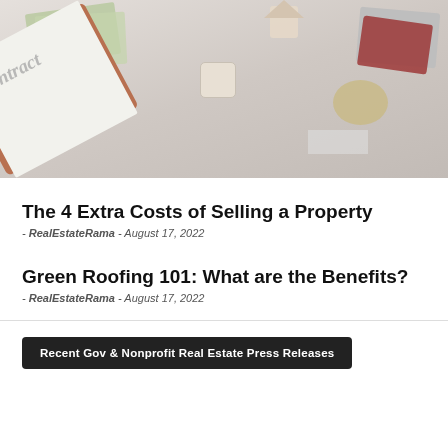[Figure (photo): Overhead flat-lay photo of real estate contract documents on a clipboard, dice, house figurines, keys, money, and papers on a white surface]
The 4 Extra Costs of Selling a Property
- RealEstateRama  -  August 17, 2022
Green Roofing 101: What are the Benefits?
- RealEstateRama  -  August 17, 2022
Recent Gov & Nonprofit Real Estate Press Releases